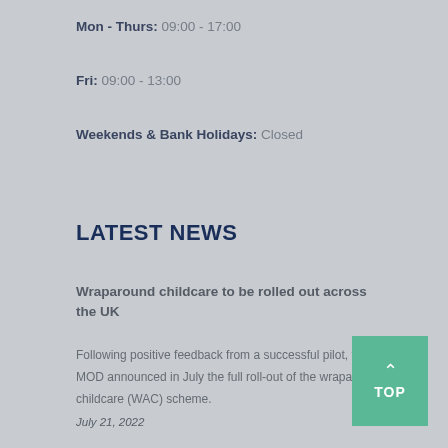Mon - Thurs: 09:00 - 17:00
Fri: 09:00 - 13:00
Weekends & Bank Holidays: Closed
LATEST NEWS
Wraparound childcare to be rolled out across the UK
Following positive feedback from a successful pilot, the MOD announced in July the full roll-out of the wraparound childcare (WAC) scheme.
July 21, 2022